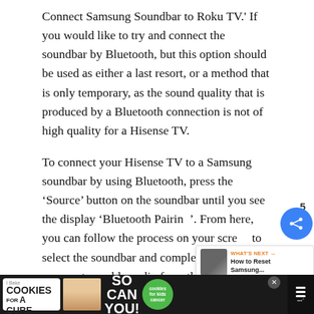Connect Samsung Soundbar to Roku TV.' If you would like to try and connect the soundbar by Bluetooth, but this option should be used as either a last resort, or a method that is only temporary, as the sound quality that is produced by a Bluetooth connection is not of high quality for a Hisense TV.
To connect your Hisense TV to a Samsung soundbar by using Bluetooth, press the ‘Source’ button on the soundbar until you see the display ‘Bluetooth Pairing’. From here, you can follow the process on your screen to select the soundbar and complete the pairing process to enable audio from the Samsung soundbar.
[Figure (screenshot): UI overlay elements: blue heart/like button, share count '5', blue share button, and a 'What's Next' card showing 'How to Reset Samsung...' with a thumbnail image]
[Figure (screenshot): Advertisement banner at bottom: 'I Bake Cookies For A Cure' with photo of woman and green 'cookies for kids cancer' circle logo, on dark background. Close button and navigation icon visible.]